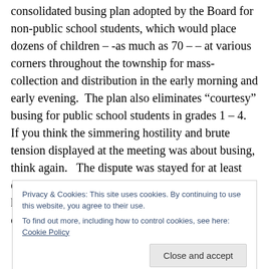consolidated busing plan adopted by the Board for non-public school students, which would place dozens of children – -as much as 70 – – at various corners throughout the township for mass-collection and distribution in the early morning and early evening.  The plan also eliminates "courtesy" busing for public school students in grades 1 – 4.    If you think the simmering hostility and brute tension displayed at the meeting was about busing, think again.   The dispute was stayed for at least one year in the face of a generous, if indelicately handled, donation by a local bank to defray the cost of the
Privacy & Cookies: This site uses cookies. By continuing to use this website, you agree to their use.
To find out more, including how to control cookies, see here: Cookie Policy
Close and accept